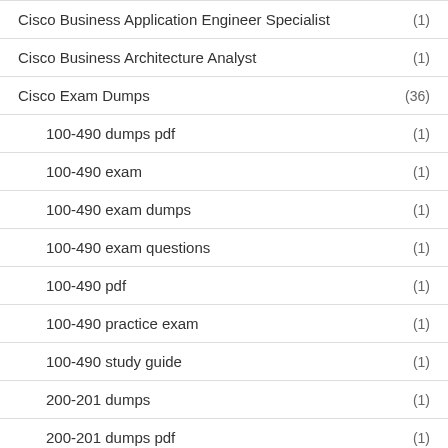Cisco Business Application Engineer Specialist (1)
Cisco Business Architecture Analyst (1)
Cisco Exam Dumps (36)
100-490 dumps pdf (1)
100-490 exam (1)
100-490 exam dumps (1)
100-490 exam questions (1)
100-490 pdf (1)
100-490 practice exam (1)
100-490 study guide (1)
200-201 dumps (1)
200-201 dumps pdf (1)